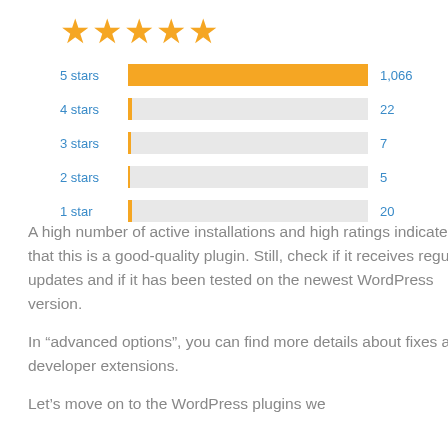[Figure (bar-chart): Star ratings]
A high number of active installations and high ratings indicate that this is a good-quality plugin. Still, check if it receives regular updates and if it has been tested on the newest WordPress version.
In “advanced options”, you can find more details about fixes and developer extensions.
Let’s move on to the WordPress plugins we